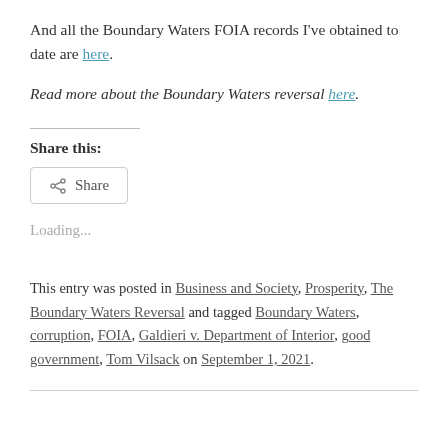And all the Boundary Waters FOIA records I've obtained to date are here.
Read more about the Boundary Waters reversal here.
Share this:
[Figure (other): Share button with share icon]
Loading...
This entry was posted in Business and Society, Prosperity, The Boundary Waters Reversal and tagged Boundary Waters, corruption, FOIA, Galdieri v. Department of Interior, good government, Tom Vilsack on September 1, 2021.